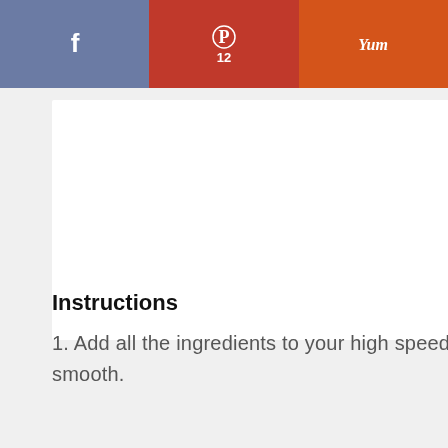[Figure (other): Social sharing bar with Facebook (blue-grey), Pinterest (red, showing 12 saves), and Yummly (orange) buttons]
[Figure (photo): White rectangular card / image placeholder area]
Instructions
1. Add all the ingredients to your high speed blender and blend well until smooth.
[Figure (photo): Top-down photo of a blender jar filled with raspberries, blueberries, and banana]
[Figure (other): Floating heart/like button (blue circle) with count 15 below, and a share button (white circle)]
WHAT'S NEXT → Oat Milk Hot Chocolate